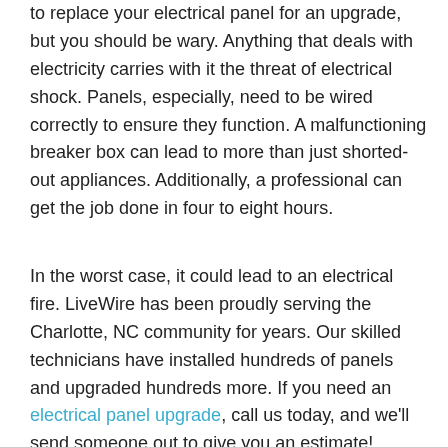to replace your electrical panel for an upgrade, but you should be wary. Anything that deals with electricity carries with it the threat of electrical shock. Panels, especially, need to be wired correctly to ensure they function. A malfunctioning breaker box can lead to more than just shorted-out appliances. Additionally, a professional can get the job done in four to eight hours.
In the worst case, it could lead to an electrical fire. LiveWire has been proudly serving the Charlotte, NC community for years. Our skilled technicians have installed hundreds of panels and upgraded hundreds more. If you need an electrical panel upgrade, call us today, and we'll send someone out to give you an estimate!